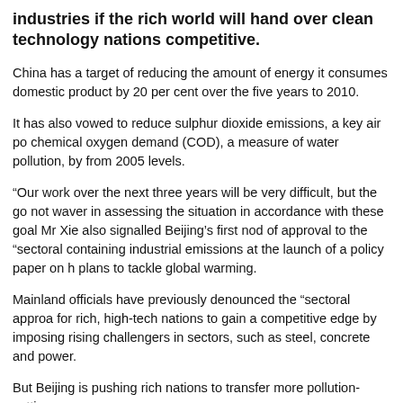industries if the rich world will hand over clean technology nations competitive.
China has a target of reducing the amount of energy it consumes domestic product by 20 per cent over the five years to 2010.
It has also vowed to reduce sulphur dioxide emissions, a key air po chemical oxygen demand (COD), a measure of water pollution, by from 2005 levels.
“Our work over the next three years will be very difficult, but the go not waver in assessing the situation in accordance with these goal Mr Xie also signalled Beijing’s first nod of approval to the “sectoral containing industrial emissions at the launch of a policy paper on h plans to tackle global warming.
Mainland officials have previously denounced the “sectoral approa for rich, high-tech nations to gain a competitive edge by imposing rising challengers in sectors, such as steel, concrete and power.
But Beijing is pushing rich nations to transfer more pollution-cuttin